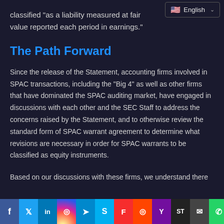classified “as a liability measured at fair value reported each period in earnings.”
[Figure (screenshot): English language selector dropdown button in top right corner]
The Path Forward
Since the release of the Statement, accounting firms involved in SPAC transactions, including the “Big 4” as well as other firms that have dominated the SPAC auditing market, have engaged in discussions with each other and the SEC Staff to address the concerns raised by the Statement, and to otherwise review the standard form of SPAC warrant agreement to determine what revisions are necessary in order for SPAC warrants to be classified as equity instruments.
Based on our discussions with these firms, we understand there
Facebook Twitter LinkedIn Instagram Telegram Skype Flipboard Reddit Yahoo SurfingTheWeb Email WhatsApp More